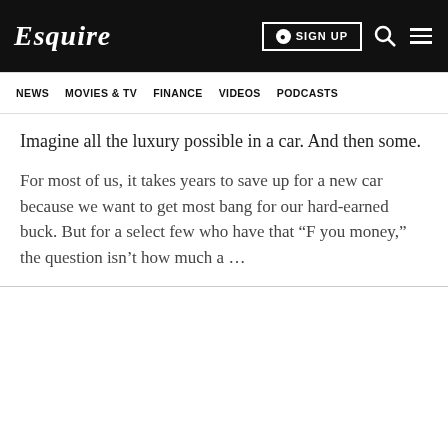Esquire | SIGN UP
NEWS   MOVIES & TV   FINANCE   VIDEOS   PODCASTS
Imagine all the luxury possible in a car. And then some.
For most of us, it takes years to save up for a new car because we want to get most bang for our hard-earned buck. But for a select few who have that “F you money,” the question isn’t how much a …